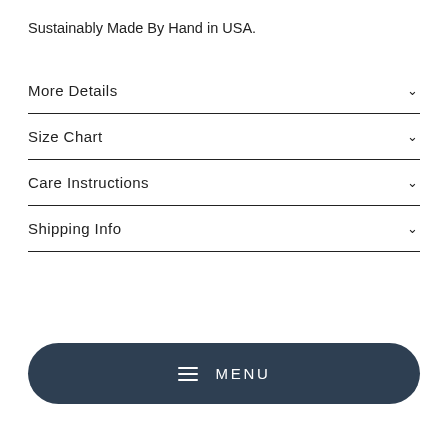Sustainably Made By Hand in USA.
More Details
Size Chart
Care Instructions
Shipping Info
MENU